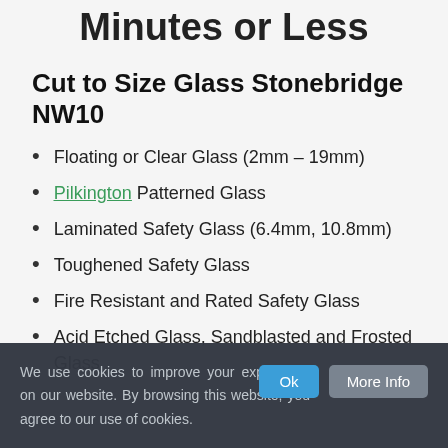Minutes or Less
Cut to Size Glass Stonebridge NW10
Floating or Clear Glass (2mm – 19mm)
Pilkington Patterned Glass
Laminated Safety Glass (6.4mm, 10.8mm)
Toughened Safety Glass
Fire Resistant and Rated Safety Glass
Acid Etched Glass, Sandblasted and Frosted Glass
We use cookies to improve your experience on our website. By browsing this website, you agree to our use of cookies.